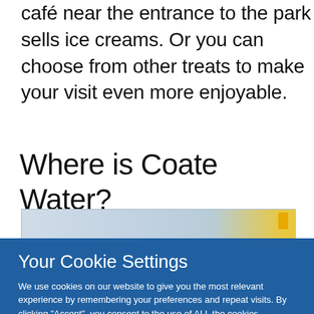café near the entrance to the park sells ice creams. Or you can choose from other treats to make your visit even more enjoyable.
Where is Coate Water?
[Figure (map): Partial view of a map strip showing Coate Water area with a yellow location marker on the right side.]
Your Cookie Settings
We use cookies on our website to give you the most relevant experience by remembering your preferences and repeat visits. By clicking "Accept", you consent to the use of ALL the cookies.
Cookie settings
ACCEPT